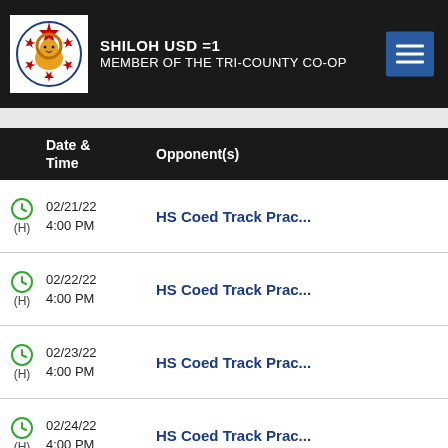SHILOH USD =1 MEMBER OF THE TRI-COUNTY CO-OP
|  | Date & Time | Opponent(s) |
| --- | --- | --- |
| (H) | 02/21/22 4:00 PM | HS Coed Track Prac... |
| (H) | 02/22/22 4:00 PM | HS Coed Track Prac... |
| (H) | 02/23/22 4:00 PM | HS Coed Track Prac... |
| (H) | 02/24/22 4:00 PM | HS Coed Track Prac... |
| (H) | 02/28/22 4:00 PM | HS Coed Track Prac... |